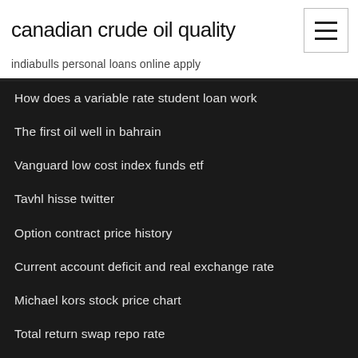canadian crude oil quality
indiabulls personal loans online apply
How does a variable rate student loan work
The first oil well in bahrain
Vanguard low cost index funds etf
Tavhl hisse twitter
Option contract price history
Current account deficit and real exchange rate
Michael kors stock price chart
Total return swap repo rate
Citibank visa pay online
Chicago mercantile exchange weather futures